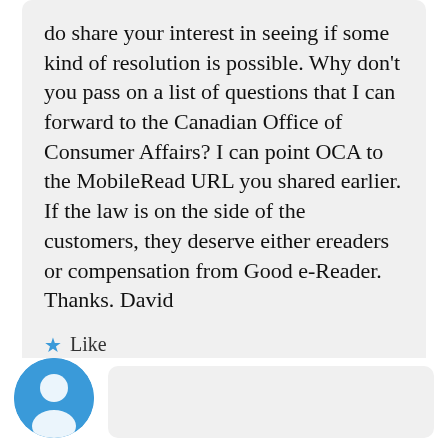do share your interest in seeing if some kind of resolution is possible. Why don't you pass on a list of questions that I can forward to the Canadian Office of Consumer Affairs? I can point OCA to the MobileRead URL you shared earlier. If the law is on the side of the customers, they deserve either ereaders or compensation from Good e-Reader. Thanks. David
★ Like
Reply